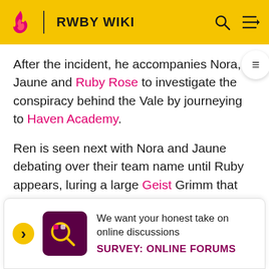RWBY WIKI
After the incident, he accompanies Nora, Jaune and Ruby Rose to investigate the conspiracy behind the Vale by journeying to Haven Academy.
Ren is seen next with Nora and Jaune debating over their team name until Ruby appears, luring a large Geist Grimm that was terrorizing a nearby village in Anima. Ren, along with the rest of Team RNJR, defeats the Grimm and head to the local blacksmith after speaking with the town official. There Jaune receives his new sword, shield and armor. Ren calls it a "sign of progress".
They ... p to Haven ... nd it des ...
[Figure (screenshot): Survey banner: We want your honest take on online discussions. SURVEY: ONLINE FORUMS]